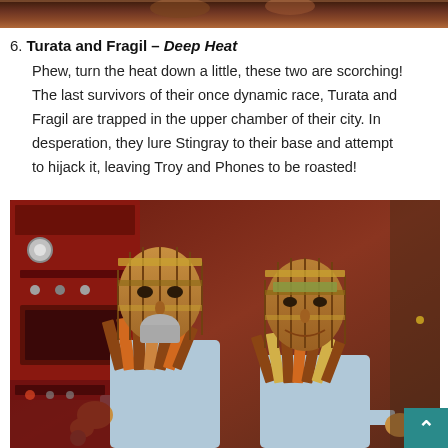[Figure (photo): Top portion of a photo showing puppet/marionette figures with decorative headgear in dark/warm tones]
6. Turata and Fragil – Deep Heat
Phew, turn the heat down a little, these two are scorching! The last survivors of their once dynamic race, Turata and Fragil are trapped in the upper chamber of their city. In desperation, they lure Stingray to their base and attempt to hijack it, leaving Troy and Phones to be roasted!
[Figure (photo): Photo of two puppet/marionette characters named Turata and Fragil from the TV show Stingray. They have ornate segmented masks for faces with geometric patterns in gold, bronze, brown and tan. Their bodies are decorated with striped ribbons. They are set against a red control panel background.]